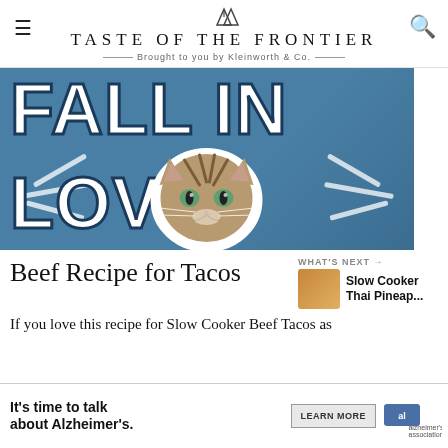TASTE OF THE FRONTIER
Brought to you by Kleinworth & Co.
[Figure (illustration): Hero image with blue background, large bold white text reading FALL IN LOVE with a cat face sticker in the center with radiating lines]
Beef Recipe for Tacos
WHAT'S NEXT → Slow Cooker Thai Pineap...
If you love this recipe for Slow Cooker Beef Tacos as
[Figure (infographic): Advertisement banner: It's time to talk about Alzheimer's. LEARN MORE. alzheimer's association logo.]